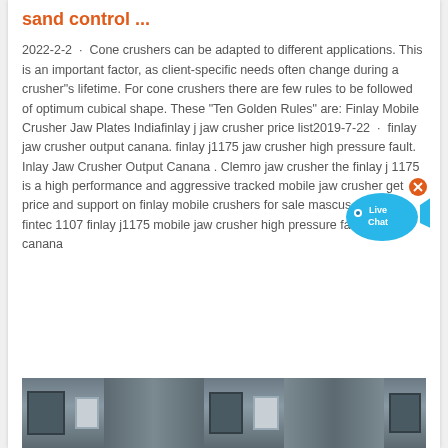sand control ...
2022-2-2 · Cone crushers can be adapted to different applications. This is an important factor, as client-specific needs often change during a crusher"s lifetime. For cone crushers there are few rules to be followed of optimum cubical shape. These "Ten Golden Rules" are: Finlay Mobile Crusher Jaw Plates Indiafinlay j jaw crusher price list2019-7-22 · finlay jaw crusher output canana. finlay j1175 jaw crusher high pressure fault. Inlay Jaw Crusher Output Canana . Clemro jaw crusher the finlay j 1175 is a high performance and aggressive tracked mobile jaw crusher get price and support on finlay mobile crushers for sale mascus canada fintec 1107 finlay j1175 mobile jaw crusher high pressure fault output canana
[Figure (infographic): Live Chat widget — blue speech bubble with fish shape and 'Live Chat' text, with an X close button]
[Figure (other): Orange 'Get Quote' button]
[Figure (photo): Industrial machinery/crusher facility photograph showing metal structures and panels]